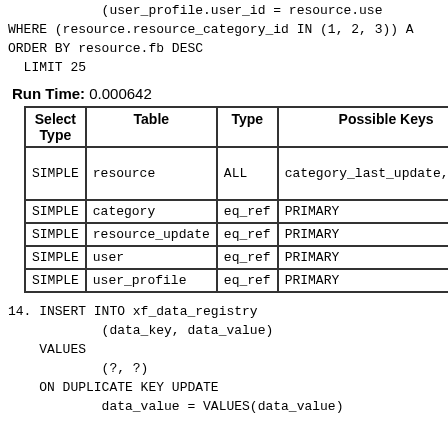(user_profile.user_id = resource.use
WHERE (resource.resource_category_id IN (1, 2, 3)) A
ORDER BY resource.fb DESC
  LIMIT 25
Run Time: 0.000642
| Select Type | Table | Type | Possible Keys |
| --- | --- | --- | --- |
| SIMPLE | resource | ALL | category_last_update,categ |
| SIMPLE | category | eq_ref | PRIMARY |
| SIMPLE | resource_update | eq_ref | PRIMARY |
| SIMPLE | user | eq_ref | PRIMARY |
| SIMPLE | user_profile | eq_ref | PRIMARY |
14. INSERT INTO xf_data_registry
            (data_key, data_value)
    VALUES
            (?, ?)
    ON DUPLICATE KEY UPDATE
            data_value = VALUES(data_value)